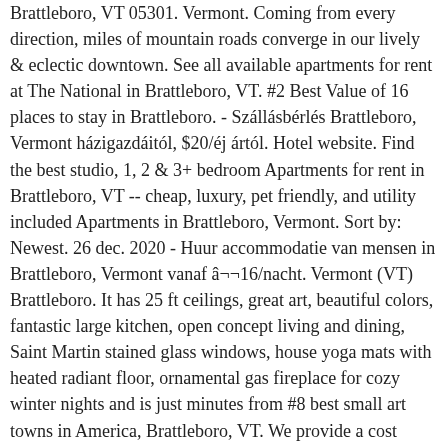Brattleboro, VT 05301. Vermont. Coming from every direction, miles of mountain roads converge in our lively & eclectic downtown. See all available apartments for rent at The National in Brattleboro, VT. #2 Best Value of 16 places to stay in Brattleboro. - Szállásbérlés Brattleboro, Vermont házigazdáitól, $20/éj ártól. Hotel website. Find the best studio, 1, 2 & 3+ bedroom Apartments for rent in Brattleboro, VT -- cheap, luxury, pet friendly, and utility included Apartments in Brattleboro, Vermont. Sort by: Newest. 26 dec. 2020 - Huur accommodatie van mensen in Brattleboro, Vermont vanaf â¬16/nacht. Vermont (VT) Brattleboro. It has 25 ft ceilings, great art, beautiful colors, fantastic large kitchen, open concept living and dining, Saint Martin stained glass windows, house yoga mats with heated radiant floor, ornamental gas fireplace for cozy winter nights and is just minutes from #8 best small art towns in America, Brattleboro, VT. We provide a cost calculator, pricing tools, and more so youâll know exactly what it will cost to live in the city you love. Get hired! Click to view any of these 1 available rental units in Brattleboro to see photos, reviews, floor plans and verified information about schools, neighborhoods, unit â¦ Brattleboro VT